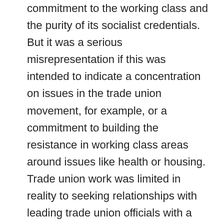commitment to the working class and the purity of its socialist credentials. But it was a serious misrepresentation if this was intended to indicate a concentration on issues in the trade union movement, for example, or a commitment to building the resistance in working class areas around issues like health or housing. Trade union work was limited in reality to seeking relationships with leading trade union officials with a view to affiliation. The Socialist Worker Platform has always argued that we should build links with and between the rank and file; this was questioned time and again because it threatened an often asserted but rarely visible sympathetic relationship with union officials. When the party did move on trade union questions, it was invariably at the last moment, generally tokenistic, and often sectarian in the tone of its interventions.